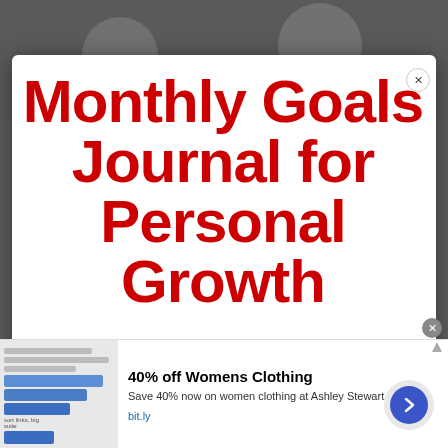[Figure (photo): Dark blurred background photo of people, partially visible behind a white modal overlay]
Monthly Goals Journal for Personal Growth
[Figure (screenshot): Advertisement banner at bottom: '40% off Womens Clothing - Save 40% now on women clothing at Ashley Stewart - bit.ly' with thumbnail image showing bar charts and UI, and a blue circular arrow button]